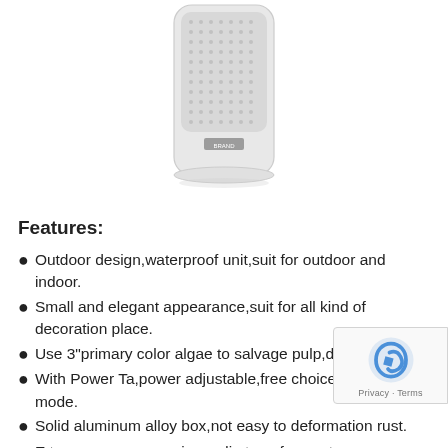[Figure (photo): White outdoor waterproof column speaker unit, rectangular with rounded bottom, visible brand badge, shown on white background.]
Features:
Outdoor design,waterproof unit,suit for outdoor and indoor.
Small and elegant appearance,suit for all kind of decoration place.
Use 3"primary color algae to salvage pulp,drum paper
With Power Ta,power adjustable,free choice of input mode.
Solid aluminum alloy box,not easy to deformation rust.
E type pure copper wire audio transformer to ensure